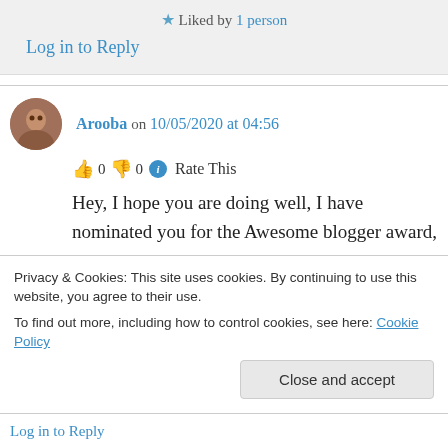★ Liked by 1 person
Log in to Reply
Arooba on 10/05/2020 at 04:56
👍 0 👎 0 ℹ Rate This
Hey, I hope you are doing well, I have nominated you for the Awesome blogger award, I hope you will accept it and surprise me with your
Privacy & Cookies: This site uses cookies. By continuing to use this website, you agree to their use.
To find out more, including how to control cookies, see here: Cookie Policy
Close and accept
Log in to Reply